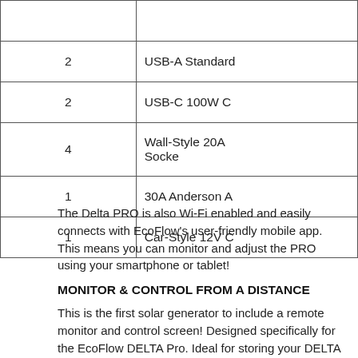| Quantity | Type |
| --- | --- |
| 2 | USB-A Standard |
| 2 | USB-C 100W C |
| 4 | Wall-Style 20A Socket |
| 1 | 30A Anderson A |
| 1 | Car-Style 12V C |
The Delta PRO is also Wi-Fi enabled and easily connects with EcoFlow's user-friendly mobile app. This means you can monitor and adjust the PRO using your smartphone or tablet!
MONITOR & CONTROL FROM A DISTANCE
This is the first solar generator to include a remote monitor and control screen! Designed specifically for the EcoFlow DELTA Pro. Ideal for storing your DELTA Pro in a cabinet, the garage, or your basement, you can easily connect to it over